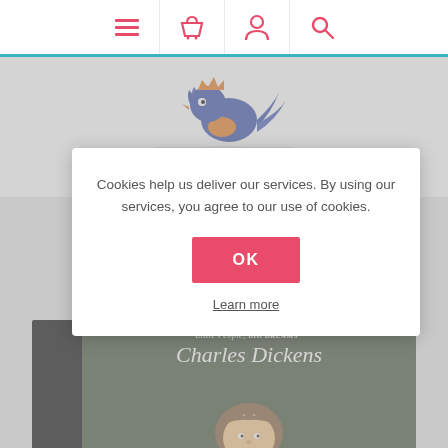Navigation bar with menu, basket, account, and search icons
[Figure (logo): Bookshop logo: a blue crowned bird sitting on an open red book, with partial text below]
Cookies help us deliver our services. By using our services, you agree to our use of cookies.
OK
Learn more
[Figure (illustration): Little People, BIG DREAMS book cover featuring Charles Dickens on a dark green background, with a illustrated portrait of Charles Dickens at the bottom]